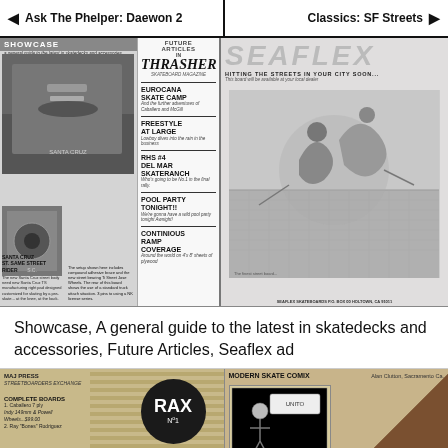Ask The Phelper: Daewon 2   |   Classics: SF Streets
[Figure (photo): Scanned magazine spread showing left page with 'Showcase' section about skatedecks and accessories, a column of Future Articles in Thrasher listing: Eurocana Skate Camp, Freestyle at Large, RHS #4 Del Mar Skateranch, Pool Party Tonight!!, Continious Ramp Coverage. Right page shows Seaflex advertisement with illustrated action artwork, tagline 'Hitting the Streets in Your City Soon...']
Showcase, A general guide to the latest in skatedecks and accessories, Future Articles, Seaflex ad
[Figure (photo): Bottom strip showing two magazine pages: left side has RAX No. 1 circular logo and Complete Boards listing with striped background; right side shows Modern Skate Comix by Alan Clutton, Sacramento CA, with illustrated comic art and dark triangular design element.]